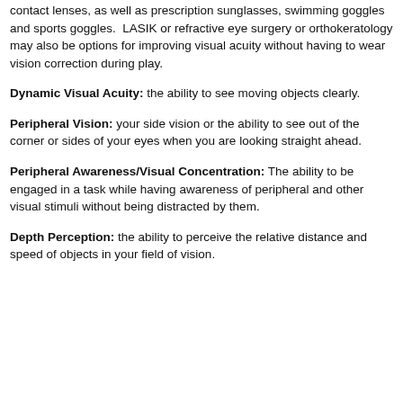contact lenses, as well as prescription sunglasses, swimming goggles and sports goggles.  LASIK or refractive eye surgery or orthokeratology may also be options for improving visual acuity without having to wear vision correction during play.
Dynamic Visual Acuity: the ability to see moving objects clearly.
Peripheral Vision: your side vision or the ability to see out of the corner or sides of your eyes when you are looking straight ahead.
Peripheral Awareness/Visual Concentration: The ability to be engaged in a task while having awareness of peripheral and other visual stimuli without being distracted by them.
Depth Perception: the ability to perceive the relative distance and speed of objects in your field of vision.